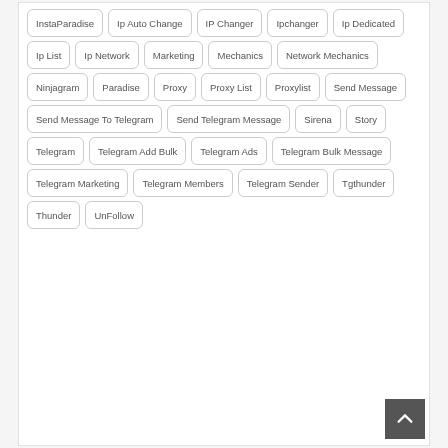InstaParadise
Ip Auto Change
IP Changer
Ipchanger
Ip Dedicated
Ip List
Ip Network
Marketing
Mechanics
Network Mechanics
Ninjagram
Paradise
Proxy
Proxy List
Proxylist
Send Message
Send Message To Telegram
Send Telegram Message
Sirena
Story
Telegram
Telegram Add Bulk
Telegram Ads
Telegram Bulk Message
Telegram Marketing
Telegram Members
Telegram Sender
Tgthunder
Thunder
UnFollow